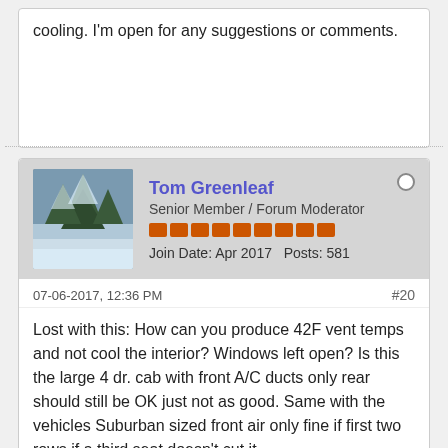cooling. I'm open for any suggestions or comments.
Tom Greenleaf
Senior Member / Forum Moderator
Join Date: Apr 2017   Posts: 581
07-06-2017, 12:36 PM   #20
Lost with this: How can you produce 42F vent temps and not cool the interior? Windows left open? Is this the large 4 dr. cab with front A/C ducts only rear should still be OK just not as good. Same with the vehicles Suburban sized front air only fine if first two rows if a third seat doesn't cut it.

Yes to dash mats premade for just this and floor mats too meant for the vehicle. Shouldn't have to but paint just roof a reflective color, window tinting as legal and so on.

The #1 question is what the heck are you using for a